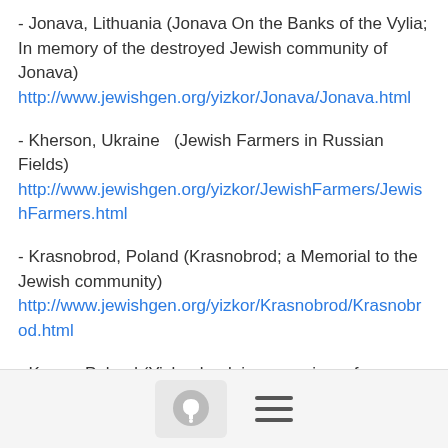- Jonava, Lithuania (Jonava On the Banks of the Vylia; In memory of the destroyed Jewish community of Jonava)
http://www.jewishgen.org/yizkor/Jonava/Jonava.html
- Kherson, Ukraine  (Jewish Farmers in Russian Fields)
http://www.jewishgen.org/yizkor/JewishFarmers/JewishFarmers.html
- Krasnobrod, Poland (Krasnobrod; a Memorial to the Jewish community)
http://www.jewishgen.org/yizkor/Krasnobrod/Krasnobrod.html
- Kurow, Poland (Yiskor book in memoriam of our hometown Kurow)
http://www.jewishgen.org/yizkor/kurow/kurow.html
- Lenin, Belarus (The community of Lenin; memorial book)
http://www.jewishgen.org/vizkor/lenin/lenin.html